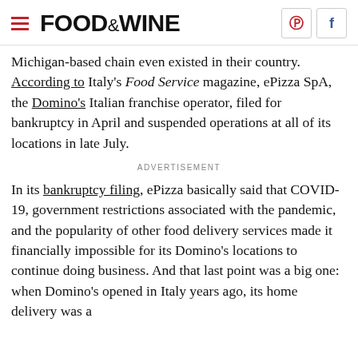FOOD&WINE
Michigan-based chain even existed in their country. According to Italy's Food Service magazine, ePizza SpA, the Domino's Italian franchise operator, filed for bankruptcy in April and suspended operations at all of its locations in late July.
ADVERTISEMENT
In its bankruptcy filing, ePizza basically said that COVID-19, government restrictions associated with the pandemic, and the popularity of other food delivery services made it financially impossible for its Domino's locations to continue doing business. And that last point was a big one: when Domino's opened in Italy years ago, its home delivery was a